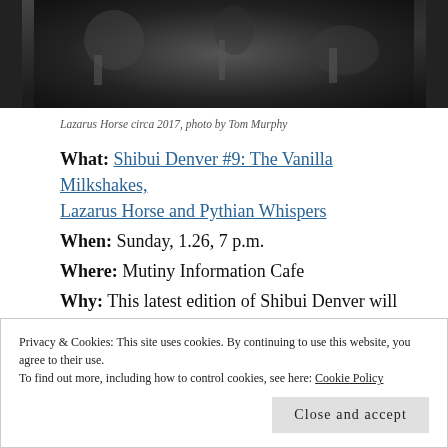[Figure (photo): Black and white photo of Lazarus Horse band performing, circa 2017]
Lazarus Horse circa 2017, photo by Tom Murphy
What: Shibui Denver #9: The Vanilla Milkshakes, Lazarus Horse and Pythian Whispers
When: Sunday, 1.26, 7 p.m.
Where: Mutiny Information Cafe
Why: This latest edition of Shibui Denver will feature outsider pop punk band The Vanilla Milkshakes, the earnest, existential, angular indie rock of Lazarus Horse
Privacy & Cookies: This site uses cookies. By continuing to use this website, you agree to their use. To find out more, including how to control cookies, see here: Cookie Policy